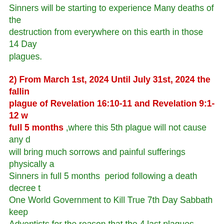Sinners will be starting to experience many deaths of the destruction from everywhere on this earth in those 14 Days plagues.
2) From March 1st, 2024 Until July 31st, 2024 the falling plague of Revelation 16:10-11 and Revelation 9:1-12 w... full 5 months ,where this 5th plague will not cause any d... will bring much sorrows and painful sufferings physically a... Sinners in full 5 months period following a death decree t... One World Government to Kill True 7th Day Sabbath keep... Adventists for the reason that the 4 last plagues worsened... Change Calamities on this earth trying to blaim Us that it w... refused to Honor the Child of the Papacy and Satan which... worship by Law. A very Darkness like never was seen by... on this last day earth will happen during this 5th plastic pla... Jesuits murders to do not Kill Us till the End of 42 Months... Months=1260 Days on July 31st, 2024 as it is prophesied...